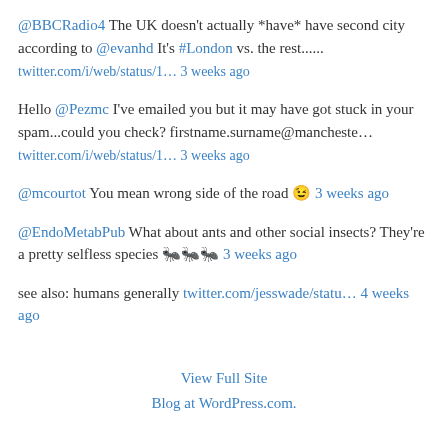@BBCRadio4 The UK doesn't actually *have* have second city according to @evanhd It's #London vs. the rest...... twitter.com/i/web/status/1… 3 weeks ago
Hello @Pezmc I've emailed you but it may have got stuck in your spam...could you check? firstname.surname@mancheste… twitter.com/i/web/status/1… 3 weeks ago
@mcourtot You mean wrong side of the road 😉 3 weeks ago
@EndoMetabPub What about ants and other social insects? They're a pretty selfless species 🐜🐜🐜 3 weeks ago
see also: humans generally twitter.com/jesswade/statu… 4 weeks ago
View Full Site
Blog at WordPress.com.